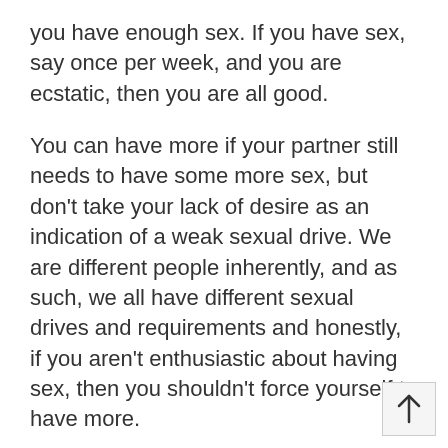you have enough sex. If you have sex, say once per week, and you are ecstatic, then you are all good.
You can have more if your partner still needs to have some more sex, but don't take your lack of desire as an indication of a weak sexual drive. We are different people inherently, and as such, we all have different sexual drives and requirements and honestly, if you aren't enthusiastic about having sex, then you shouldn't force yourself to have more.
Forcing yourself to have more sex when you are really uninterested can have the opposite effect on your sexual drive. It might end up seeming like more of a chore and less of a ceremony of pleasure